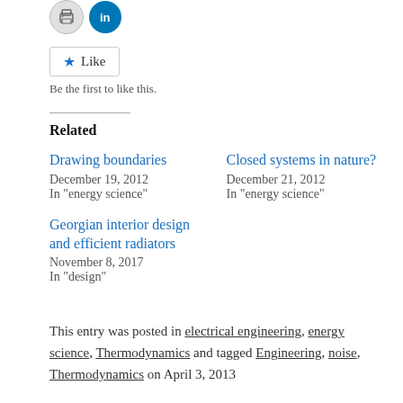[Figure (other): Social sharing icon buttons: print (gray circle) and LinkedIn (blue circle)]
[Figure (other): Like button with blue star icon and text 'Like']
Be the first to like this.
Related
Drawing boundaries
December 19, 2012
In "energy science"
Closed systems in nature?
December 21, 2012
In "energy science"
Georgian interior design and efficient radiators
November 8, 2017
In "design"
This entry was posted in electrical engineering, energy science, Thermodynamics and tagged Engineering, noise, Thermodynamics on April 3, 2013